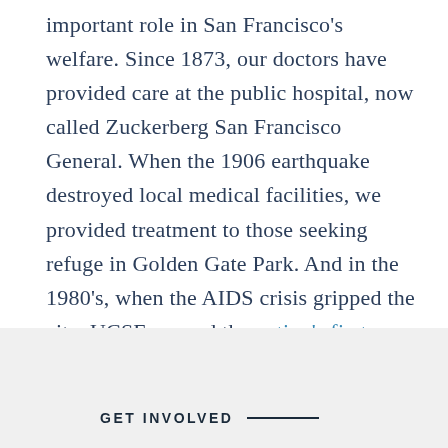important role in San Francisco's welfare. Since 1873, our doctors have provided care at the public hospital, now called Zuckerberg San Francisco General. When the 1906 earthquake destroyed local medical facilities, we provided treatment to those seeking refuge in Golden Gate Park. And in the 1980's, when the AIDS crisis gripped the city, UCSF opened the nation's first dedicated HIV clinic and treated those who were suffering with compassion. Our mission of advancing health worldwide starts here, in the city we call home.
GET INVOLVED